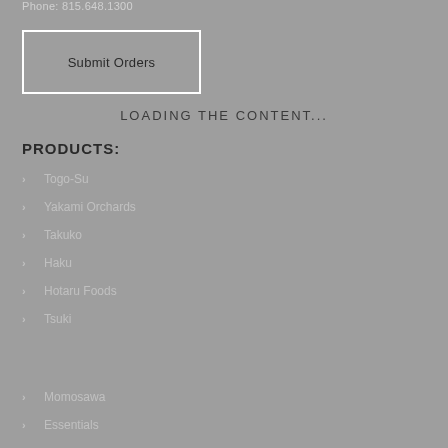Phone: 815.648.1300
Submit Orders
LOADING THE CONTENT...
PRODUCTS:
Togo-Su
Yakami Orchards
Takuko
Haku
Hotaru Foods
Tsuki
Momosawa
Essentials